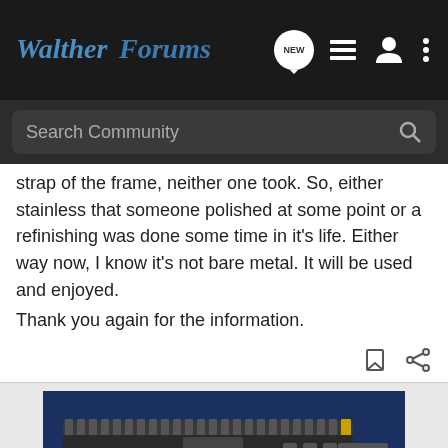WaltherForums
strap of the frame, neither one took. So, either stainless that someone polished at some point or a refinishing was done some time in it's life. Either way now, I know it's not bare metal. It will be used and enjoyed.
Thank you again for the information.
[Figure (photo): Advertisement showing a handgun with a rifle chassis kit on a dark blue background, with a Bass Pro Shops banner below advertising Reloading Supplies with a Shop Now button]